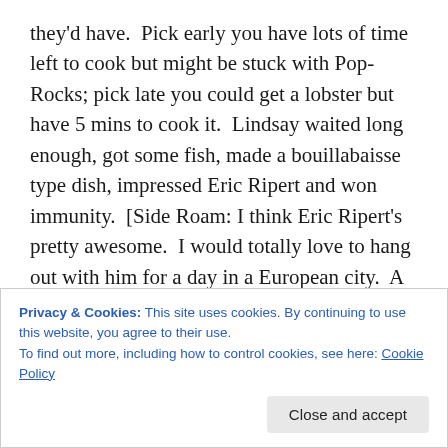they'd have.  Pick early you have lots of time left to cook but might be stuck with Pop-Rocks; pick late you could get a lobster but have 5 mins to cook it.  Lindsay waited long enough, got some fish, made a bouillabaisse type dish, impressed Eric Ripert and won immunity.  [Side Roam: I think Eric Ripert's pretty awesome.  I would totally love to hang out with him for a day in a European city.  A day where you're just wandering around, eating and drinking, and having a general good time.  He seems really genuine, at least on TV, and I get the feeling he's pretty fun.  He looks all serious and is French but I bet he knows where all the good food is.]  Oh and Beverly totally would have
Privacy & Cookies: This site uses cookies. By continuing to use this website, you agree to their use.
To find out more, including how to control cookies, see here: Cookie Policy